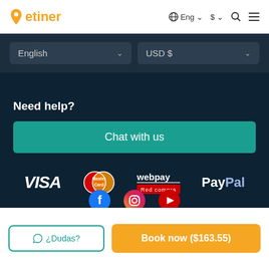etiner | Eng $ search menu
English
USD $
Need help?
Chat with us
[Figure (logo): Payment logos: VISA, MasterCard, webpay Red compra, PayPal]
About us | Terms and conditions
¿Dudas?
Book now ($163.55)